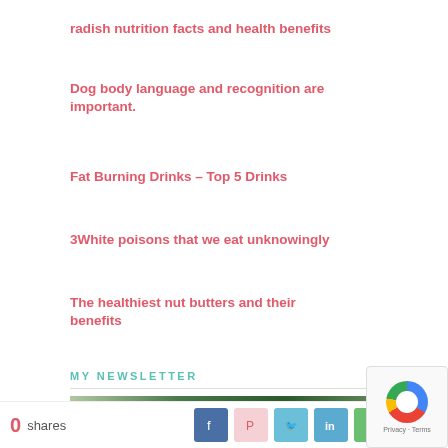radish nutrition facts and health benefits
Dog body language and recognition are important.
Fat Burning Drinks – Top 5 Drinks
3White poisons that we eat unknowingly
The healthiest nut butters and their benefits
MY NEWSLETTER
[Figure (photo): Newsletter section image with plants/greenery background]
0 shares  [social share icons: Facebook, Pinterest, Twitter, LinkedIn, green]